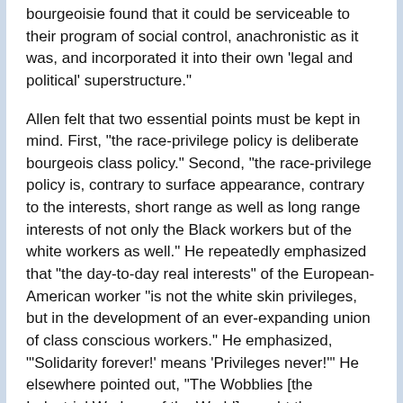bourgeoisie found that it could be serviceable to their program of social control, anachronistic as it was, and incorporated it into their own 'legal and political' superstructure."
Allen felt that two essential points must be kept in mind. First, "the race-privilege policy is deliberate bourgeois class policy." Second, "the race-privilege policy is, contrary to surface appearance, contrary to the interests, short range as well as long range interests of not only the Black workers but of the white workers as well." He repeatedly emphasized that "the day-to-day real interests" of the European-American worker "is not the white skin privileges, but in the development of an ever-expanding union of class conscious workers." He emphasized, "'Solidarity forever!' means 'Privileges never!'" He elsewhere pointed out, "The Wobblies [the Industrial Workers of the World] caught the essence of it in their slogan: 'An